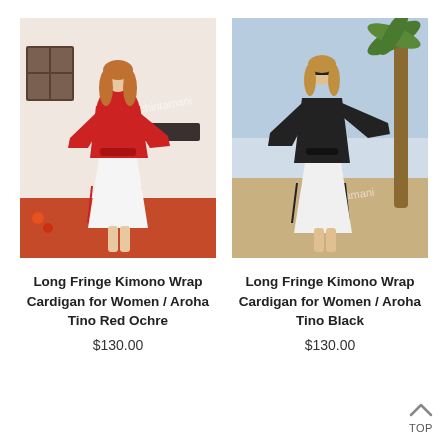[Figure (photo): Woman wearing a long red fringe kimono wrap cardigan tied at waist, standing in front of a white and orange wall with a window. Chintamani watermark visible.]
[Figure (photo): Woman wearing a long black fringe kimono wrap cardigan tied at waist, standing outdoors near a palm tree on a beach. Chintamani watermark visible.]
Long Fringe Kimono Wrap Cardigan for Women / Aroha Tino Red Ochre
$130.00
Long Fringe Kimono Wrap Cardigan for Women / Aroha Tino Black
$130.00
TOP